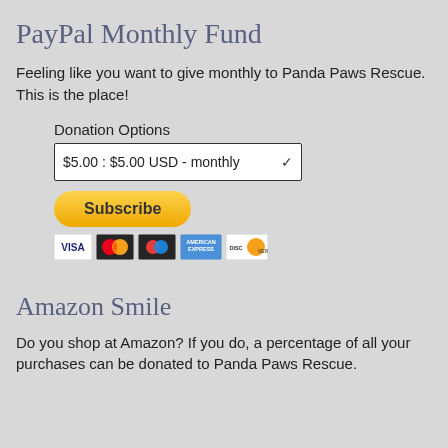PayPal Monthly Fund
Feeling like you want to give monthly to Panda Paws Rescue. This is the place!
Donation Options
$5.00 : $5.00 USD - monthly
[Figure (screenshot): Subscribe button with PayPal styling and payment card icons (Visa, Mastercard, American Express, Discover)]
Amazon Smile
Do you shop at Amazon? If you do, a percentage of all your purchases can be donated to Panda Paws Rescue.